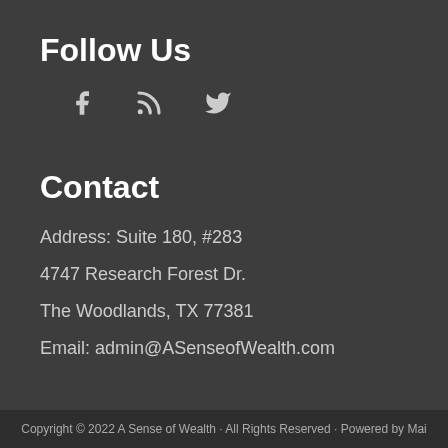Follow Us
[Figure (other): Social media icons: Facebook (f), RSS feed, Twitter bird]
Contact
Address: Suite 180, #283
4747 Research Forest Dr.
The Woodlands, TX 77381
Email: admin@ASenseofWealth.com
Copyright © 2022 A Sense of Wealth · All Rights Reserved · Powered by Mai